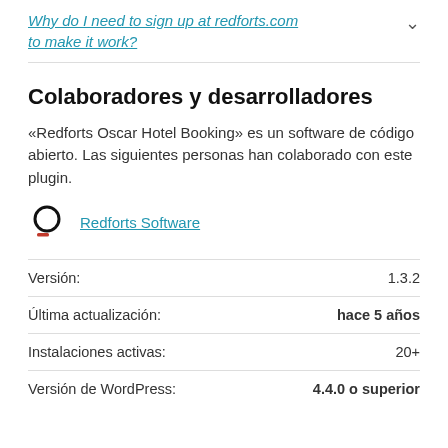Why do I need to sign up at redforts.com to make it work?
Colaboradores y desarrolladores
«Redforts Oscar Hotel Booking» es un software de código abierto. Las siguientes personas han colaborado con este plugin.
Redforts Software
| Label | Value |
| --- | --- |
| Versión: | 1.3.2 |
| Última actualización: | hace 5 años |
| Instalaciones activas: | 20+ |
| Versión de WordPress: | 4.4.0 o superior |